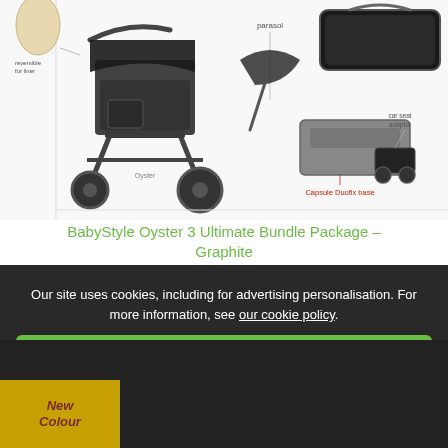[Figure (photo): Product photo of BabyStyle Oyster 3 stroller bundle with accessories: reversible fur liner, parasol, capsule Duofix base, car seat adaptor, and carry cot shown on a white background with text callouts.]
BabyStyle Oyster 3 Ultimate Bundle Package – Graphite
Our site uses cookies, including for advertising personalisation. For more information, see our cookie policy.
Accept cookies and close
Reject cookies
Manage settings